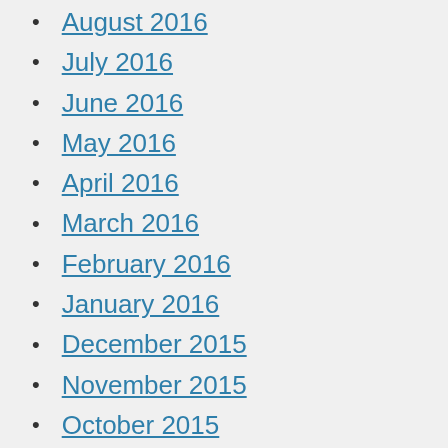August 2016
July 2016
June 2016
May 2016
April 2016
March 2016
February 2016
January 2016
December 2015
November 2015
October 2015
September 2015
August 2015
July 2015
June 2015
May 2015
April 2015